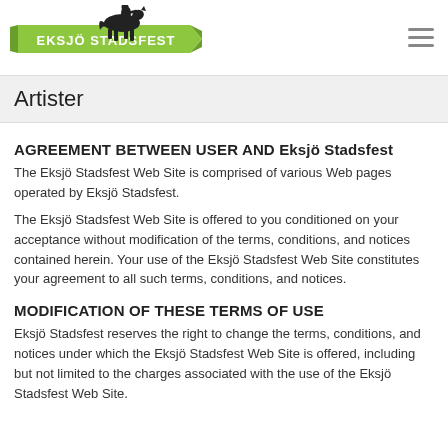[Figure (logo): Eksjö Stadsfest logo with a horse and rider silhouette on a green ribbon banner with the text EKSJÖ STADSFEST]
Artister
AGREEMENT BETWEEN USER AND Eksjö Stadsfest
The Eksjö Stadsfest Web Site is comprised of various Web pages operated by Eksjö Stadsfest.
The Eksjö Stadsfest Web Site is offered to you conditioned on your acceptance without modification of the terms, conditions, and notices contained herein. Your use of the Eksjö Stadsfest Web Site constitutes your agreement to all such terms, conditions, and notices.
MODIFICATION OF THESE TERMS OF USE
Eksjö Stadsfest reserves the right to change the terms, conditions, and notices under which the Eksjö Stadsfest Web Site is offered, including but not limited to the charges associated with the use of the Eksjö Stadsfest Web Site.